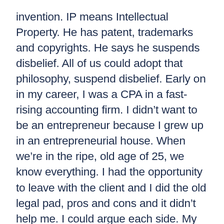invention. IP means Intellectual Property. He has patent, trademarks and copyrights. He says he suspends disbelief. All of us could adopt that philosophy, suspend disbelief. Early on in my career, I was a CPA in a fast-rising accounting firm. I didn't want to be an entrepreneur because I grew up in an entrepreneurial house. When we're in the ripe, old age of 25, we know everything. I had the opportunity to leave with the client and I did the old legal pad, pros and cons and it didn't help me. I could argue each side. My hand wrote across the top of the page, “Why not?” That's been my guiding philosophy. That is, why not do something different? Why not take the road less traveled? Why not step out of your comfort zone? I'm not sure if this is what you were referring to. Each one of us has that opportunity to either grab